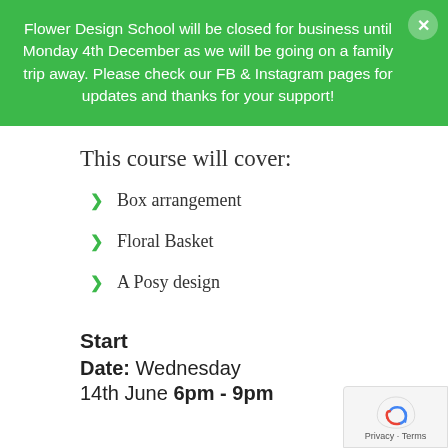Flower Design School will be closed for business until Monday 4th December as we will be going on a family trip away. Please check our FB & Instagram pages for updates and thanks for your support!
This course will cover:
Box arrangement
Floral Basket
A Posy design
Start
Date: Wednesday
14th June 6pm - 9pm